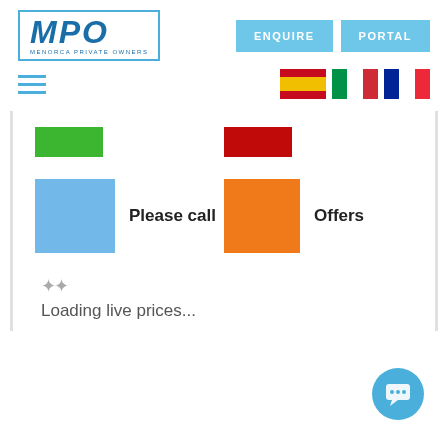[Figure (logo): MPO Menorca Private Owners logo in blue with border]
ENQUIRE
PORTAL
[Figure (other): Hamburger menu icon (three horizontal blue lines)]
[Figure (other): Spanish, Italian, and French flag icons]
[Figure (infographic): Color legend boxes: green (available), red (unavailable), blue (Please call), orange (Offers)]
Please call
Offers
Loading live prices...
[Figure (other): Chat bubble button (blue circle with speech bubble icon)]